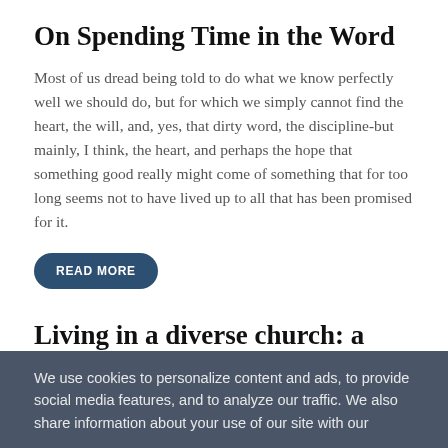On Spending Time in the Word
Most of us dread being told to do what we know perfectly well we should do, but for which we simply cannot find the heart, the will, and, yes, that dirty word, the discipline-but mainly, I think, the heart, and perhaps the hope that something good really might come of something that for too long seems not to have lived up to all that has been promised for it.
READ MORE
Living in a diverse church: a case study
We use cookies to personalize content and ads, to provide social media features, and to analyze our traffic. We also share information about your use of our site with our social media, advertising and analytics...